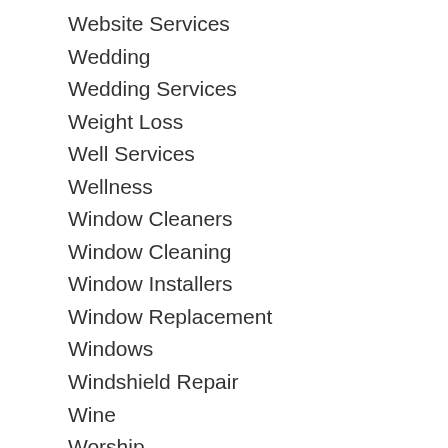Website Services
Wedding
Wedding Services
Weight Loss
Well Services
Wellness
Window Cleaners
Window Cleaning
Window Installers
Window Replacement
Windows
Windshield Repair
Wine
Worship
Writing and Translation